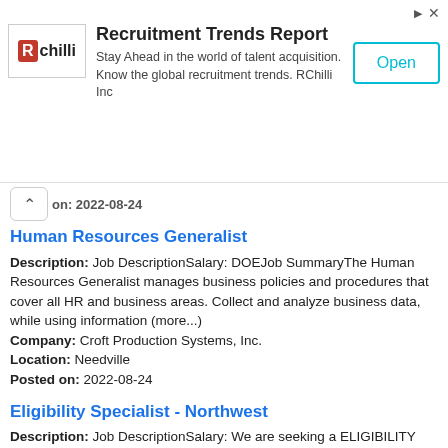[Figure (other): RChilli advertisement banner: Recruitment Trends Report. Logo with RChilli branding on left, description text in center, Open button on right.]
on: 2022-08-24
Human Resources Generalist
Description: Job DescriptionSalary: DOEJob SummaryThe Human Resources Generalist manages business policies and procedures that cover all HR and business areas. Collect and analyze business data, while using information (more...)
Company: Croft Production Systems, Inc.
Location: Needville
Posted on: 2022-08-24
Eligibility Specialist - Northwest
Description: Job DescriptionSalary: We are seeking a ELIGIBILITY SPECIALIST to become a part of our team You will be responsible for processing insurance claims for healthcare facilities. Responsibilities ul li (more...)
Company: St. Hope Foundation
Location: Houston
Posted on: 2022-08-24
Senior Risk Engineer NA
Description: About Swiss Re Corporate Solutions Swiss Re is